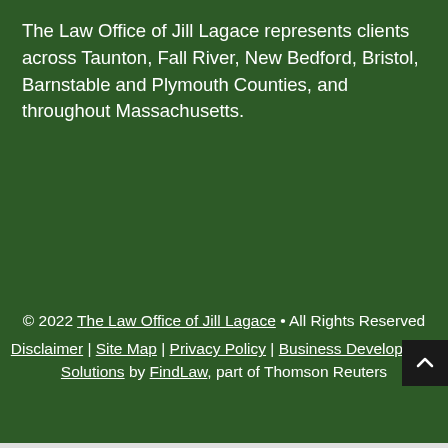The Law Office of Jill Lagace represents clients across Taunton, Fall River, New Bedford, Bristol, Barnstable and Plymouth Counties, and throughout Massachusetts.
© 2022 The Law Office of Jill Lagace • All Rights Reserved
Disclaimer | Site Map | Privacy Policy | Business Development Solutions by FindLaw, part of Thomson Reuters